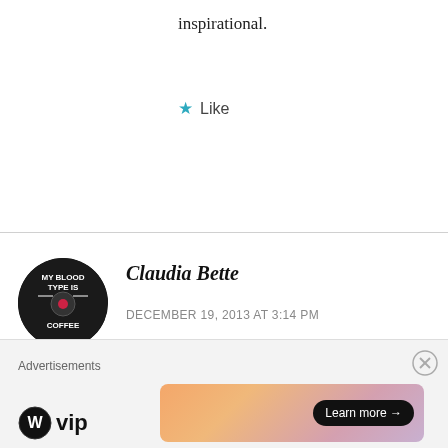inspirational.
★ Like
[Figure (illustration): Circular avatar image with text 'MY BLOOD TYPE IS COFFEE' on dark background]
Claudia Bette
DECEMBER 19, 2013 AT 3:14 PM
Congratulations! I've lost 60 lbs since May 4, 2013. I use a great app for tracking my food but it is kind of like Weight Watchers in that if I do exercise, I get a few calories back but I try not to
Advertisements
[Figure (logo): WordPress VIP logo and ad banner with Learn more button]